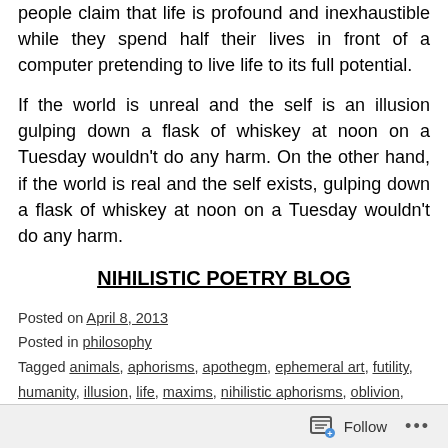people claim that life is profound and inexhaustible while they spend half their lives in front of a computer pretending to live life to its full potential.
If the world is unreal and the self is an illusion gulping down a flask of whiskey at noon on a Tuesday wouldn't do any harm. On the other hand, if the world is real and the self exists, gulping down a flask of whiskey at noon on a Tuesday wouldn't do any harm.
NIHILISTIC POETRY BLOG
Posted on April 8, 2013
Posted in philosophy
Tagged animals, aphorisms, apothegm, ephemeral art, futility, humanity, illusion, life, maxims, nihilistic aphorisms, oblivion,
Follow ...